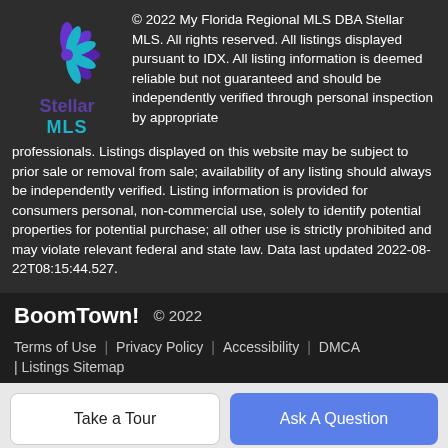[Figure (logo): Stellar MLS logo — snowflake/star shape in purple and cyan above the text 'Stellar MLS']
© 2022 My Florida Regional MLS DBA Stellar MLS. All rights reserved. All listings displayed pursuant to IDX. All listing information is deemed reliable but not guaranteed and should be independently verified through personal inspection by appropriate professionals. Listings displayed on this website may be subject to prior sale or removal from sale; availability of any listing should always be independently verified. Listing information is provided for consumers personal, non-commercial use, solely to identify potential properties for potential purchase; all other use is strictly prohibited and may violate relevant federal and state law. Data last updated 2022-08-22T08:15:44.527.
BoomTown! © 2022
Terms of Use | Privacy Policy | Accessibility | DMCA | Listings Sitemap
Take a Tour
Ask A Question